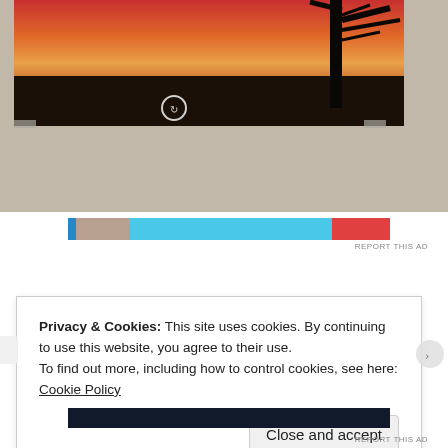[Figure (photo): A photograph of a framed artwork or print showing a silhouetted tree and tree line against an orange-red sunset sky, pinned to a wall. A circular icon/logo appears in the lower-left of the artwork.]
[Figure (photo): An advertisement banner with a cyan/blue background, a small thumbnail image on the left, and a red block on the right, overlaid on the page.]
REPORT THIS AD
Privacy & Cookies: This site uses cookies. By continuing to use this website, you agree to their use.
To find out more, including how to control cookies, see here: Cookie Policy
Close and accept
[Figure (photo): A dark advertisement banner at the bottom of the page.]
REPORT THIS AD